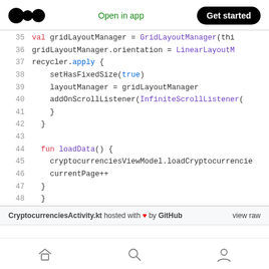Open in app | Get started
[Figure (screenshot): Code snippet showing Kotlin code lines 35-48 for CryptocurrenciesActivity.kt, including gridLayoutManager setup and loadData() function]
CryptocurrenciesActivity.kt hosted with ♥ by GitHub  view raw